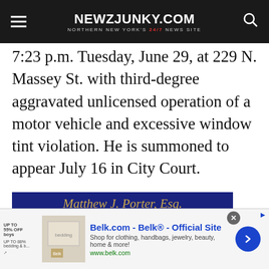NEWZJUNKY.COM — NORTHERN NEW YORK'S 24/7 NEWS SITE
7:23 p.m. Tuesday, June 29, at 229 N. Massey St. with third-degree aggravated unlicensed operation of a motor vehicle and excessive window tint violation. He is summoned to appear July 16 in City Court.
[Figure (advertisement): Advertisement for Matthew J. Porter, Esq. — Criminal, Traffic & DWI Defense; Family, Divorce, Custody & Child Support. Features attorney photo and dark blue background with gold text.]
[Figure (advertisement): Banner ad for Belk.com — Belk® Official Site. Shop for clothing, handbags, jewelry, beauty, home & more! www.belk.com]